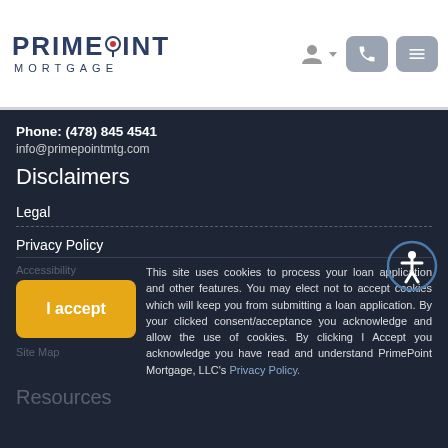[Figure (logo): PrimePoint Mortgage logo with map pin icon between PRIME and POINT text]
Phone: (478) 845 4541
info@primepointmtg.com
Disclaimers
Legal
Privacy Policy
Accessibility text (partially obscured)
This site uses cookies to process your loan application and other features. You may elect not to accept cookies which will keep you from submitting a loan application. By your clicked consent/acceptance you acknowledge and allow the use of cookies. By clicking I Accept you acknowledge you have read and understand PrimePoint Mortgage, LLC's Privacy Policy.
Site Map
Resources